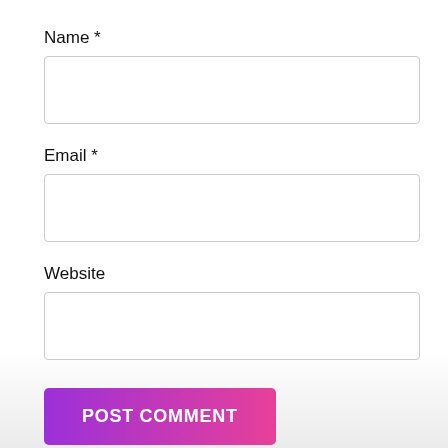Name *
[Figure (other): Empty text input field for Name]
Email *
[Figure (other): Empty text input field for Email]
Website
[Figure (other): Empty text input field for Website]
POST COMMENT